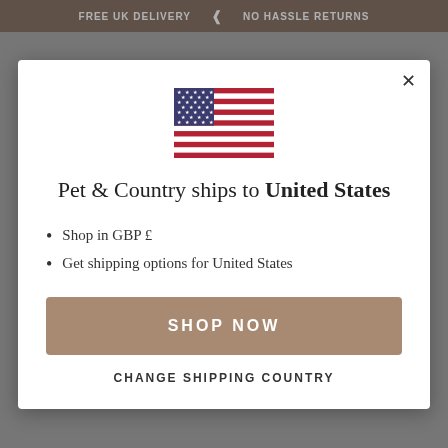FREE UK DELIVERY   NO HASSLE RETURNS
[Figure (illustration): US flag emoji/illustration shown centered in modal]
Pet & Country ships to United States
Shop in GBP £
Get shipping options for United States
SHOP NOW
CHANGE SHIPPING COUNTRY